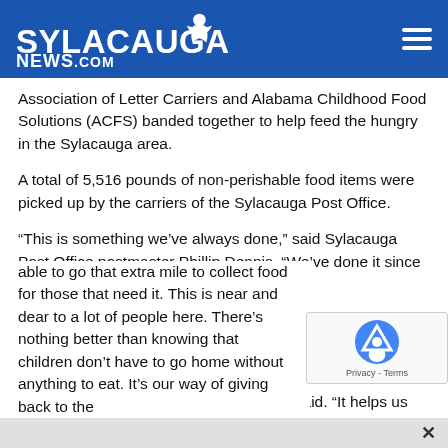SylacaugaNews.com
Association of Letter Carriers and Alabama Childhood Food Solutions (ACFS) banded together to help feed the hungry in the Sylacauga area.
A total of 5,516 pounds of non-perishable food items were picked up by the carriers of the Sylacauga Post Office.
“This is something we’ve always done,” said Sylacauga Post Office postmaster Phillip Dennis. “We’ve done it since 2009 back when I was a mail carrier.”
The food will be shared by ACFS through the End Hunger Sylacauga program and will also go to those needing it in Coosa County.
“We serve the community daily,” Dennis said. “It helps us be able to go that extra mile to collect food for those that need it. This is near and dear to a lot of people here. There’s nothing better than knowing that children don’t have to go home without anything to eat. It’s our way of giving back to the community.”